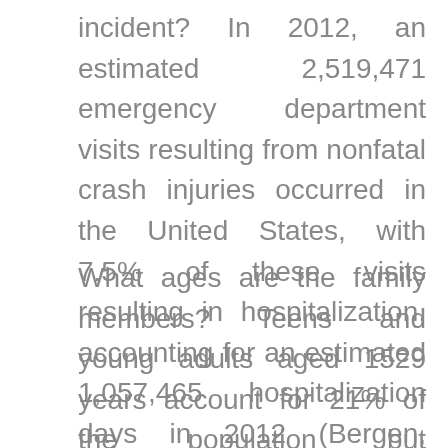incident? In 2012, an estimated 2,519,471 emergency department visits resulting from nonfatal crash injuries occurred in the United States, with 7.5% of these visits resulting in hospitalization, accounting for an estimated 1,057,465 hospitalization days in 2012 (Bergen, 2014).
What ages are the family members? Teens and young adults aged 1529 years account for 21% of the population but accounted for 38% of the costs for patients treated and released for crash injuries (Bergen, 2014).